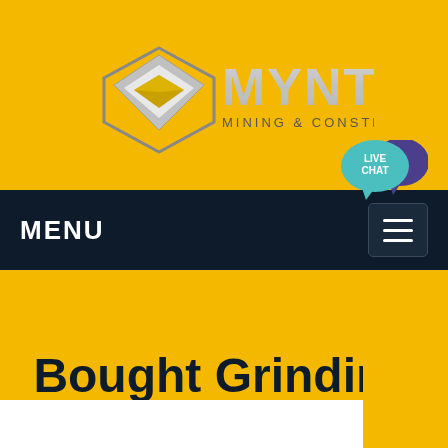[Figure (logo): MYNT Mining & Construction logo with metallic geometric diamond shape and stylized MYNT text]
MENU
Bought Grinding Machinery
Home / Products